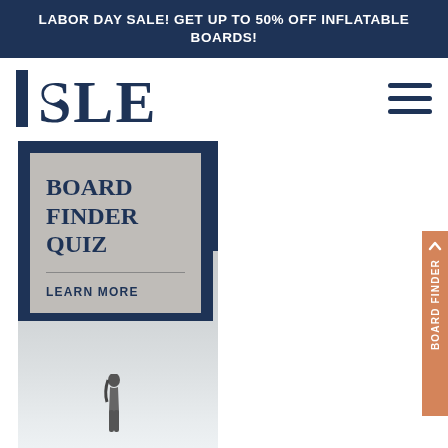LABOR DAY SALE! GET UP TO 50% OFF INFLATABLE BOARDS!
[Figure (logo): ISLE brand logo in dark navy serif font]
[Figure (illustration): Hamburger menu icon with three horizontal lines]
[Figure (infographic): Board Finder Quiz card with dark navy border and gray background. Text reads BOARD FINDER QUIZ with LEARN MORE link. Background shows beach scene with standing person silhouette.]
[Figure (infographic): BOARD FINDER vertical side tab in orange/salmon color with arrow chevron pointing up]